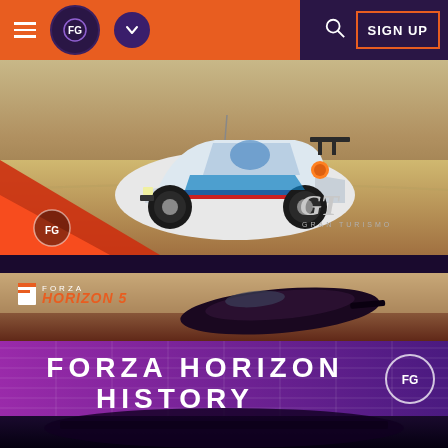Navigation bar with hamburger menu, logo circle (FG icon), dropdown circle, search icon, and SIGN UP button
[Figure (screenshot): Gran Turismo screenshot showing a white rally car (Peugeot 205 T16 style) with blue and red livery drifting on a dirt track, with red triangle graphic overlay in lower left, GT Gran Turismo logo in lower right, and FG badge in lower left]
[Figure (screenshot): Forza Horizon 5 promotional banner showing a dark sports car from above, with Forza Horizon 5 logo in upper left. Below is a purple gradient overlay with bold white text reading FORZA HORIZON HISTORY and an FG circular badge on the right. Bottom shows dark car exterior.]